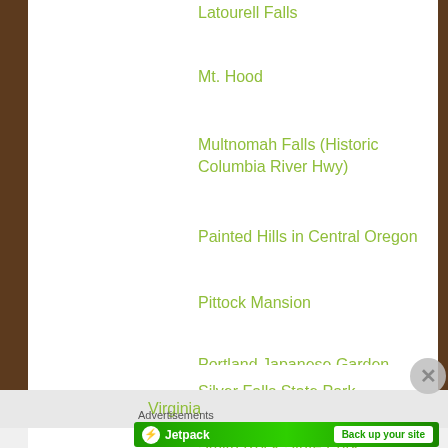Latourell Falls
Mt. Hood
Multnomah Falls (Historic Columbia River Hwy)
Painted Hills in Central Oregon
Pittock Mansion
Portland Japanese Garden
Silver Falls State Park
Smith Rock State Park (Central Oregon)
Virginia
Advertisements
[Figure (other): Jetpack advertisement banner: green background with Jetpack logo and 'Back up your site' button]